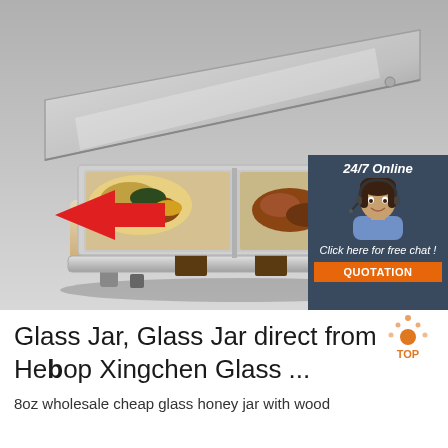[Figure (photo): Product photo of a stainless steel chafing dish with glass lid open, showing two compartments filled with food (noodles/vegetables and browned meat with broccoli). A red arrow points to the side panel. Background is light gray. An overlay in the upper right shows a customer service agent with headset, text '24/7 Online', 'Click here for free chat!', and an orange 'QUOTATION' button.]
[Figure (logo): TOP logo with orange/amber dots arranged in a triangle and central filled circle, text 'TOP' in orange]
Glass Jar, Glass Jar direct from Hebop Xingchen Glass ...
8oz wholesale cheap glass honey jar with wood